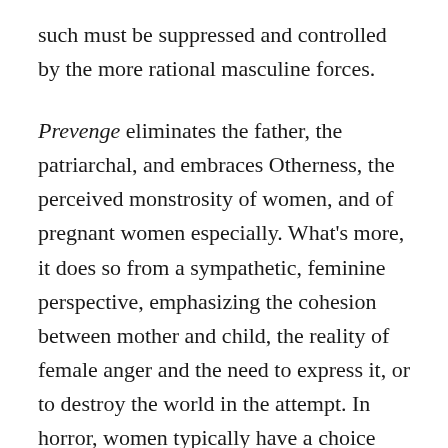such must be suppressed and controlled by the more rational masculine forces.
Prevenge eliminates the father, the patriarchal, and embraces Otherness, the perceived monstrosity of women, and of pregnant women especially. What's more, it does so from a sympathetic, feminine perspective, emphasizing the cohesion between mother and child, the reality of female anger and the need to express it, or to destroy the world in the attempt. In horror, women typically have a choice between being the victim or the monster. We've chosen the monster.
Prevenge will stream on Shudder on March 24.